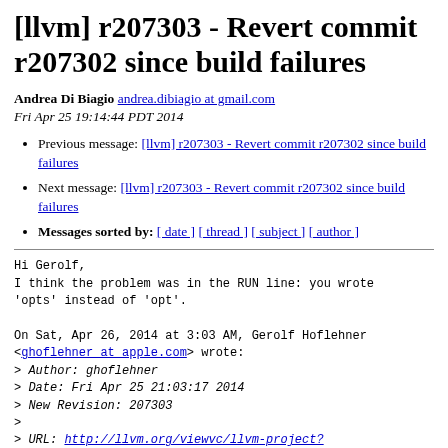[llvm] r207303 - Revert commit r207302 since build failures
Andrea Di Biagio andrea.dibiagio at gmail.com
Fri Apr 25 19:14:44 PDT 2014
Previous message: [llvm] r207303 - Revert commit r207302 since build failures
Next message: [llvm] r207303 - Revert commit r207302 since build failures
Messages sorted by: [ date ] [ thread ] [ subject ] [ author ]
Hi Gerolf,
I think the problem was in the RUN line: you wrote
'opts' instead of 'opt'.

On Sat, Apr 26, 2014 at 3:03 AM, Gerolf Hoflehner
<ghoflehner at apple.com> wrote:
> Author: ghoflehner
> Date: Fri Apr 25 21:03:17 2014
> New Revision: 207303
>
> URL: http://llvm.org/viewvc/llvm-project?
rev=207303&view=rev